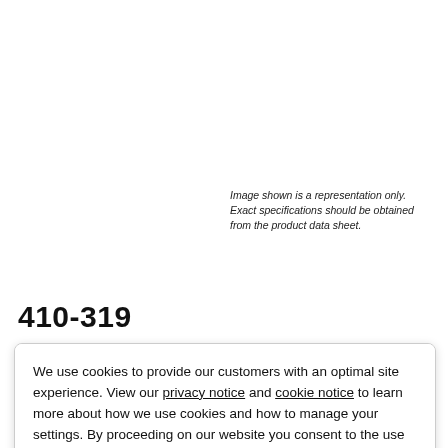Image shown is a representation only. Exact specifications should be obtained from the product data sheet.
410-319
We use cookies to provide our customers with an optimal site experience. View our privacy notice and cookie notice to learn more about how we use cookies and how to manage your settings. By proceeding on our website you consent to the use of cookies.
Continue
Exit
Privacy Notice